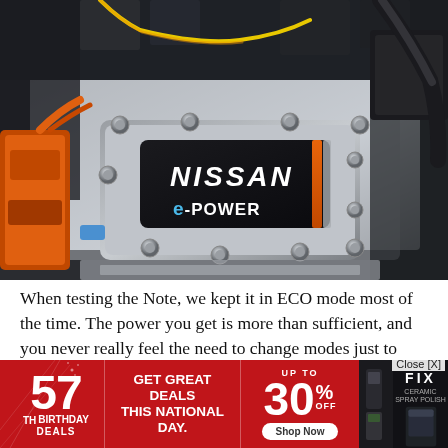[Figure (photo): Close-up photograph of a Nissan e-POWER engine bay component. A black rectangular module with the NISSAN and e-POWER logo is prominently displayed, surrounded by silver engine parts, bolts, and orange and yellow wiring.]
When testing the Note, we kept it in ECO mode most of the time. The power you get is more than sufficient, and you never really feel the need to change modes just to overtake someone else on the road. Plus, in ECO, you do save
[Figure (infographic): Red banner advertisement: 57th Birthday Deals. GET GREAT DEALS THIS NATIONAL DAY. UP TO 30% OFF. Shop Now. FIX branding on right. Close [X] button in top right corner of banner.]